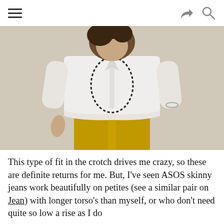[hamburger menu] [share icon] [search icon]
[Figure (photo): A woman wearing a white button-down shirt tucked loosely into mustard/yellow skinny jeans, with a long black beaded necklace and a bracelet. She is photographed from the neck down against a light beige wall.]
This type of fit in the crotch drives me crazy, so these are definite returns for me. But, I've seen ASOS skinny jeans work beautifully on petites (see a similar pair on Jean) with longer torso's than myself, or who don't need quite so low a rise as I do